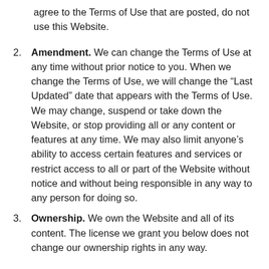agree to the Terms of Use that are posted, do not use this Website.
Amendment. We can change the Terms of Use at any time without prior notice to you. When we change the Terms of Use, we will change the “Last Updated” date that appears with the Terms of Use. We may change, suspend or take down the Website, or stop providing all or any content or features at any time. We may also limit anyone’s ability to access certain features and services or restrict access to all or part of the Website without notice and without being responsible in any way to any person for doing so.
Ownership. We own the Website and all of its content. The license we grant you below does not change our ownership rights in any way.